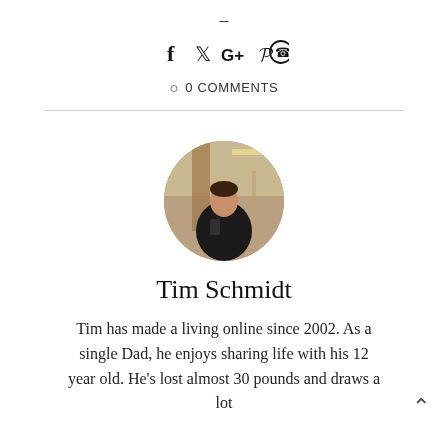[Figure (infographic): Social share icons row: Facebook (f), Twitter (bird), Google+ (G+), Pinterest (p), WhatsApp (phone in circle)]
○ 0 COMMENTS
[Figure (photo): Circular avatar photo of Tim Schmidt taking a mirror selfie in a dark t-shirt in a bathroom/hallway setting]
Tim Schmidt
Tim has made a living online since 2002. As a single Dad, he enjoys sharing life with his 12 year old. He's lost almost 30 pounds and draws a lot